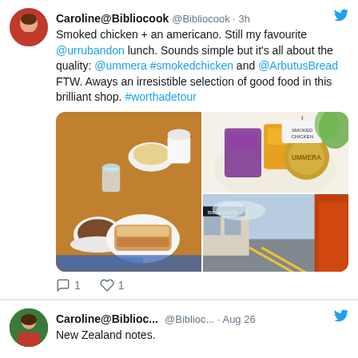Caroline@Bibliocook @Bibliocook · 3h
Smoked chicken + an americano. Still my favourite @urrubandon lunch. Sounds simple but it's all about the quality: @ummera #smokedchicken and @ArbutusBread FTW. Aways an irresistible selection of good food in this brilliant shop. #worthadetour
[Figure (photo): Three food photos: left shows overhead view of coffee, sandwich and snacks on a wooden table; top right shows a basket of packaged goods; bottom right shows an exterior street/shop view with orange door frame.]
1   1
Caroline@Biblioc... @Biblioc... · Aug 26
New Zealand notes.